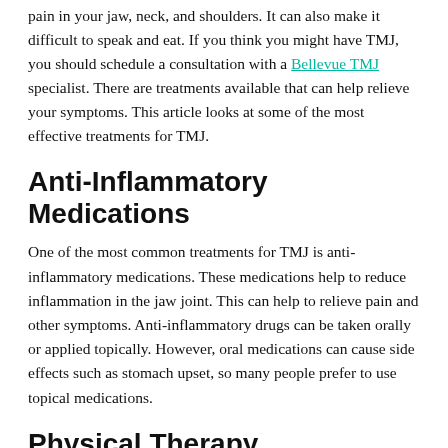pain in your jaw, neck, and shoulders. It can also make it difficult to speak and eat. If you think you might have TMJ, you should schedule a consultation with a Bellevue TMJ specialist. There are treatments available that can help relieve your symptoms. This article looks at some of the most effective treatments for TMJ.
Anti-Inflammatory Medications
One of the most common treatments for TMJ is anti-inflammatory medications. These medications help to reduce inflammation in the jaw joint. This can help to relieve pain and other symptoms. Anti-inflammatory drugs can be taken orally or applied topically. However, oral medications can cause side effects such as stomach upset, so many people prefer to use topical medications.
Physical Therapy